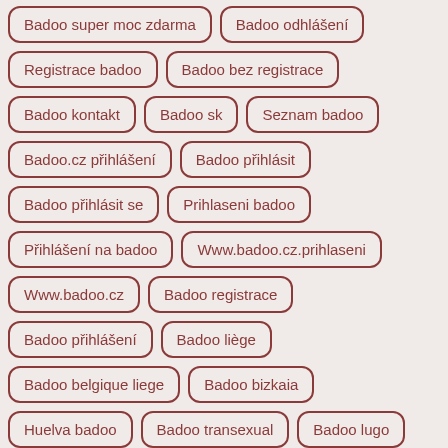Badoo super moc zdarma
Badoo odhlášení
Registrace badoo
Badoo bez registrace
Badoo kontakt
Badoo sk
Seznam badoo
Badoo.cz přihlášení
Badoo přihlásit
Badoo přihlásit se
Prihlaseni badoo
Přihlášení na badoo
Www.badoo.cz.prihlaseni
Www.badoo.cz
Badoo registrace
Badoo přihlášení
Badoo liège
Badoo belgique liege
Badoo bizkaia
Huelva badoo
Badoo transexual
Badoo lugo
Badoo nudos
Travestí badoo
Castellano de badoo